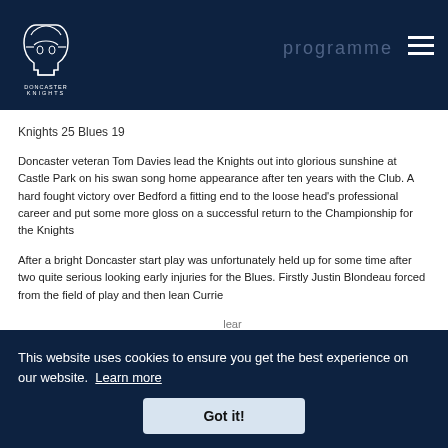Doncaster Knights — programme (header navigation)
Knights 25 Blues 19
Doncaster veteran Tom Davies lead the Knights out into glorious sunshine at Castle Park on his swan song home appearance after ten years with the Club. A hard fought victory over Bedford a fitting end to the loose head's professional career and put some more gloss on a successful return to the Championship for the Knights
After a bright Doncaster start play was unfortunately held up for some time after two quite serious looking early injuries for the Blues. Firstly Justin Blondeau forced from the field of play and then lean Currie
[partially obscured] ...lear
[partially obscured] ...ly
...ne in the Blues ranks and turned down several penalty shots at goal. It was
This website uses cookies to ensure you get the best experience on our website.  Learn more
Got it!